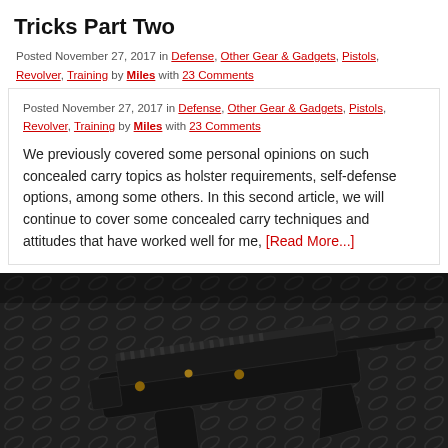Tricks Part Two
Posted November 27, 2017 in Defense, Other Gear & Gadgets, Pistols, Revolver, Training by Miles with 23 Comments
We previously covered some personal opinions on such concealed carry topics as holster requirements, self-defense options, among some others. In this second article, we will continue to cover some concealed carry techniques and attitudes that have worked well for me, [Read More...]
[Figure (photo): Close-up photo of a black and gold AR-15 style firearm laid on a dark diamond-plate metal surface]
[Figure (other): Advertisement bar showing FAB Defense ICONIC BY RISE product with small firearm accessory images on dark background]